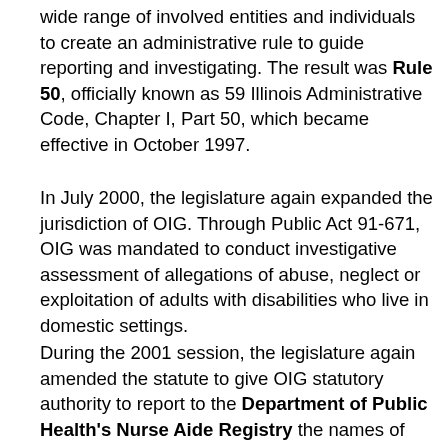wide range of involved entities and individuals to create an administrative rule to guide reporting and investigating. The result was Rule 50, officially known as 59 Illinois Administrative Code, Chapter I, Part 50, which became effective in October 1997.
In July 2000, the legislature again expanded the jurisdiction of OIG. Through Public Act 91-671, OIG was mandated to conduct investigative assessment of allegations of abuse, neglect or exploitation of adults with disabilities who live in domestic settings.
During the 2001 session, the legislature again amended the statute to give OIG statutory authority to report to the Department of Public Health's Nurse Aide Registry the names of employees of State-operated facilities and community agencies who committed and have a